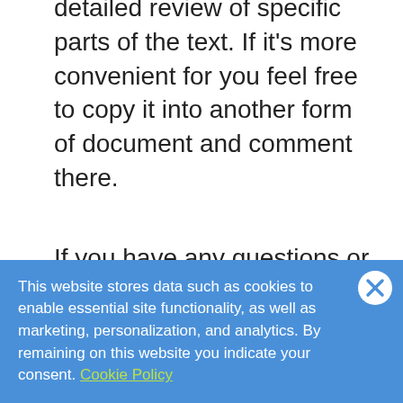detailed review of specific parts of the text. If it's more convenient for you feel free to copy it into another form of document and comment there.
If you have any questions or would like to get involved you can also contact me or Stefan Thanheiser <stefan.thanheiser@fiduciagad.de> directly.
The plan for the next steps is to get the document a round of reviews, incorporate the resulting feedback, and then update the document. By that time we expect to have a reportby the final version.
This website stores data such as cookies to enable essential site functionality, as well as marketing, personalization, and analytics. By remaining on this website you indicate your consent. Cookie Policy